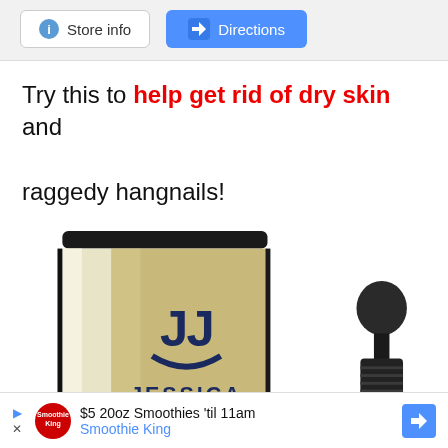[Figure (screenshot): Store info and Directions buttons in a light gray bar at the top]
Try this to help get rid of dry skin and raggedy hangnails!
[Figure (photo): Jessica brand nail care product box (gold/black) and a dropper bottle]
$5 20oz Smoothies 'til 11am Smoothie King